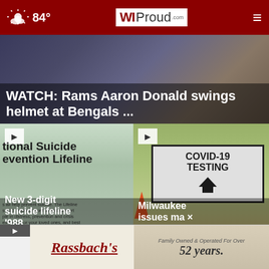84° WIProud.com
[Figure (photo): Hero image showing Rams Aaron Donald swinging helmet at Bengals players]
WATCH: Rams Aaron Donald swings helmet at Bengals ...
[Figure (photo): National Suicide Prevention Lifeline sign with text about preventing suicide]
New 3-digit suicide lifeline '988...
[Figure (photo): COVID-19 Testing sign with upward arrow and orange traffic cones]
Milwaukee issues ma ×
[Figure (photo): Rassbach's advertisement - Family Owned & Operated For Over 52 years.]